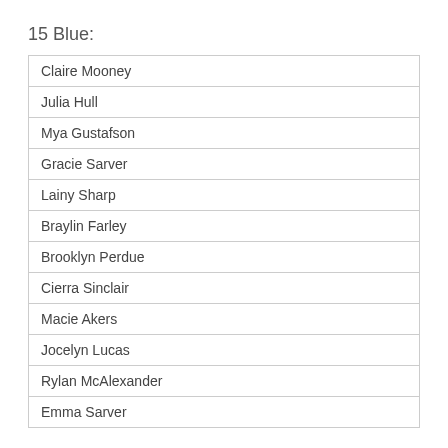15 Blue:
| Claire Mooney |
| Julia Hull |
| Mya Gustafson |
| Gracie Sarver |
| Lainy Sharp |
| Braylin Farley |
| Brooklyn Perdue |
| Cierra Sinclair |
| Macie Akers |
| Jocelyn Lucas |
| Rylan McAlexander |
| Emma Sarver |
16 Elite:
| Sophia Russell |